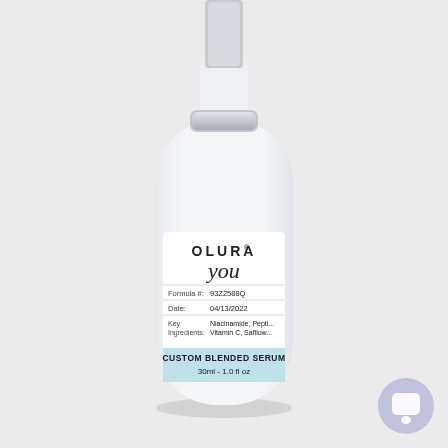[Figure (photo): A frosted white glass serum bottle with a silver pump cap. The label on the bottle reads: OLURA (brand name, with registered trademark symbol), 'you' in cursive script, Formula #: 93Z2588Q, Date: 04/13/2022, Key Ingredients: Niacinamide, Peptides, Vitamin C, Safflower. A light blue banner at the bottom of the label reads 'CUSTOM BLENDED SERUM 30ml - 1.0 fl oz'. The background is light grey.]